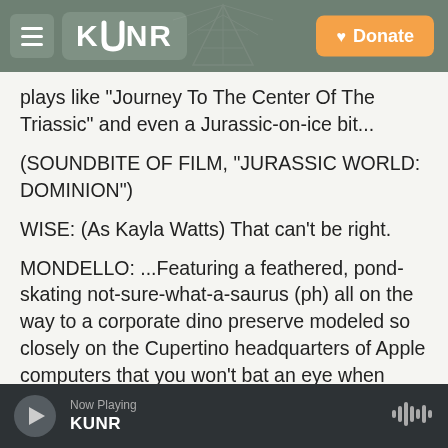KUNR — Donate
plays like "Journey To The Center Of The Triassic" and even a Jurassic-on-ice bit...
(SOUNDBITE OF FILM, "JURASSIC WORLD: DOMINION")
WISE: (As Kayla Watts) That can't be right.
MONDELLO: ...Featuring a feathered, pond-skating not-sure-what-a-saurus (ph) all on the way to a corporate dino preserve modeled so closely on the Cupertino headquarters of Apple computers that you won't bat an eye when Campbell Scott shows up looking like a clone of Apple CEO Tim Cook. I
Now Playing KUNR